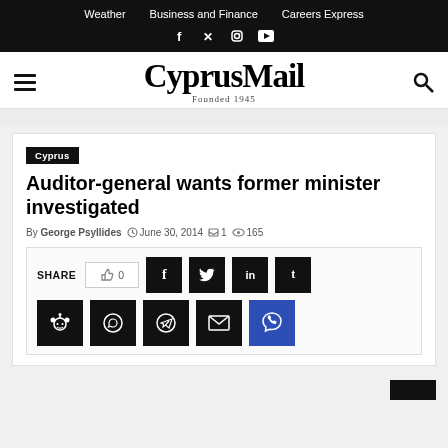Weather  Business and Finance  Careers Express
[Figure (logo): CyprusMail newspaper logo with 'Founded 1945' tagline, hamburger menu icon on left, search icon on right]
Cyprus
Auditor-general wants former minister investigated
By George Psyllides  June 30, 2014  1  165
[Figure (infographic): Social share bar with SHARE label, like button (0), Facebook, Twitter, LinkedIn, Tumblr, Reddit, WhatsApp, Telegram, Email, Viber buttons]